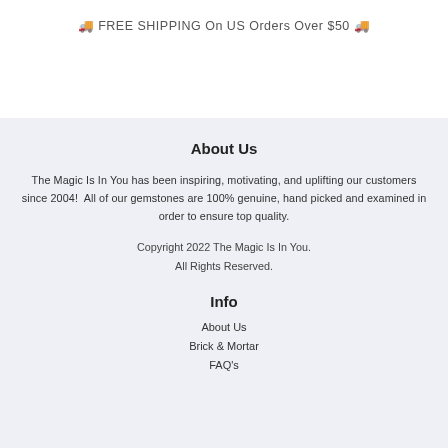🚚 FREE SHIPPING On US Orders Over $50 🚚
About Us
The Magic Is In You has been inspiring, motivating, and uplifting our customers since 2004!  All of our gemstones are 100% genuine, hand picked and examined in order to ensure top quality.
Copyright 2022 The Magic Is In You.
All Rights Reserved.
Info
About Us
Brick & Mortar
FAQ's